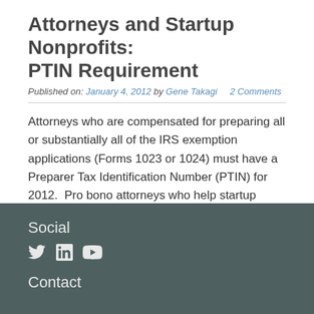Attorneys and Startup Nonprofits: PTIN Requirement
Published on: January 4, 2012 by Gene Takagi    2 Comments
Attorneys who are compensated for preparing all or substantially all of the IRS exemption applications (Forms 1023 or 1024) must have a Preparer Tax Identification Number (PTIN) for 2012.  Pro bono attorneys who help startup nonprofits are not required to have a PTIN if they prepare such Forms without compensation. If you think nobody was [...]
Social
[Figure (other): Social media icons: Twitter bird, LinkedIn 'in', YouTube play button]
Contact